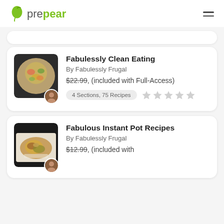prepear
[Figure (screenshot): Partially visible recipe card at top of page]
Fabulessly Clean Eating
By Fabulessly Frugal
$22.99, (included with Full-Access)
4 Sections, 75 Recipes
Fabulous Instant Pot Recipes
By Fabulessly Frugal
$12.99, (included with